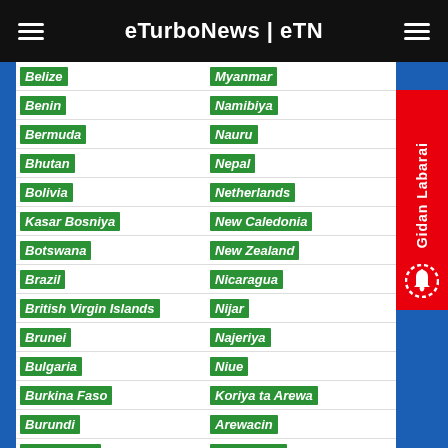eTurboNews | eTN
Belize | Myanmar
Benin | Namibiya
Bermuda | Nauru
Bhutan | Nepal
Bolivia | Netherlands
Kasar Bosniya | New Caledonia
Botswana | New Zealand
Brazil | Nicaragua
British Virgin Islands | Nijar
Brunei | Najeriya
Bulgaria | Niue
Burkina Faso | Koriya ta Arewa
Burundi | Arewacin
Cape Verde | Macedonia
Kambodiya | Norway
Kamaru | Oman
Kanada | Pakistan